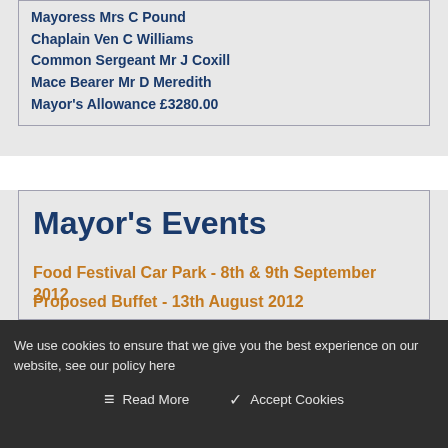Mayoress Mrs C Pound
Chaplain Ven C Williams
Common Sergeant Mr J Coxill
Mace Bearer Mr D Meredith
Mayor's Allowance £3280.00
Mayor's Events
Food Festival Car Park - 8th & 9th September 2012
Proposed Buffet - 13th August 2012 (partial)
We use cookies to ensure that we give you the best experience on our website, see our policy here
Read More   Accept Cookies